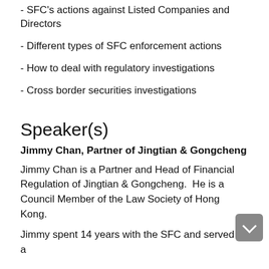- SFC's actions against Listed Companies and Directors
- Different types of SFC enforcement actions
- How to deal with regulatory investigations
- Cross border securities investigations
Speaker(s)
Jimmy Chan, Partner of Jingtian & Gongcheng
Jimmy Chan is a Partner and Head of Financial Regulation of Jingtian & Gongcheng.  He is a Council Member of the Law Society of Hong Kong.
Jimmy spent 14 years with the SFC and served as a